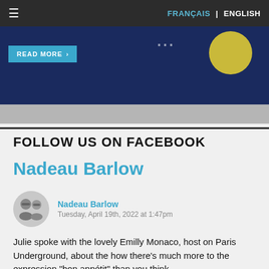FRANÇAIS | ENGLISH
[Figure (screenshot): Banner image with dark blue background, READ MORE button in teal, decorative dots and yellow circle, grey bar at bottom]
FOLLOW US ON FACEBOOK
Nadeau Barlow
Nadeau Barlow
Tuesday, April 19th, 2022 at 1:47pm
Julie spoke with the lovely Emilly Monaco, host on Paris Underground, about the how there's much more to the expression "bon appétit" than you think.